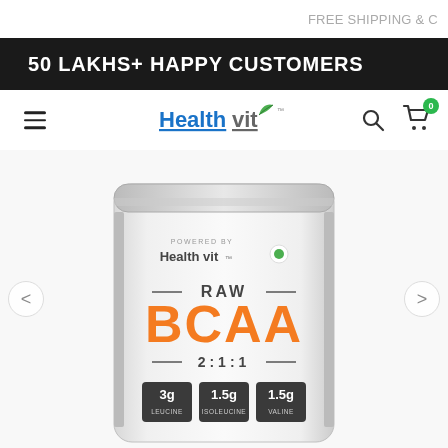FREE SHIPPING &
50 LAKHS+ HAPPY CUSTOMERS
[Figure (logo): Health Vit logo with blue 'Health', grey 'vit' text and green leaf icon]
[Figure (photo): HealthVit RAW BCAA 2:1:1 supplement powder pouch packaging showing 3g Leucine, 1.5g Isoleucine, 1.5g Valine]